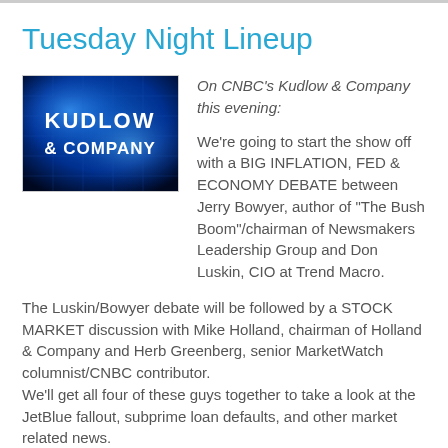Tuesday Night Lineup
[Figure (photo): CNBC Kudlow & Company logo on blue background]
On CNBC's Kudlow & Company this evening:

We're going to start the show off with a BIG INFLATION, FED & ECONOMY DEBATE between Jerry Bowyer, author of "The Bush Boom"/chairman of Newsmakers Leadership Group and Don Luskin, CIO at Trend Macro.
The Luskin/Bowyer debate will be followed by a STOCK MARKET discussion with Mike Holland, chairman of Holland & Company and Herb Greenberg, senior MarketWatch columnist/CNBC contributor.
We'll get all four of these guys together to take a look at the JetBlue fallout, subprime loan defaults, and other market related news.